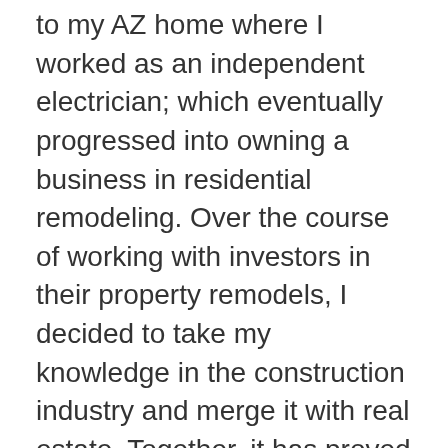to my AZ home where I worked as an independent electrician; which eventually progressed into owning a business in residential remodeling. Over the course of working with investors in their property remodels, I decided to take my knowledge in the construction industry and merge it with real estate. Together, it has proved to be a dynamic combination where I can be the ultimate advocate for my clients with a vast knowledge of what it takes to make a house a home, from the ground up to the buying and selling process.
My wife of 19 years and I love our busy life with our 3 children. We enjoy traveling, hiking/camping, good wine and food, and learning about investing wisely - which only this business can help us achieve! My commitment to my faith, family, and goals is what drives me daily to